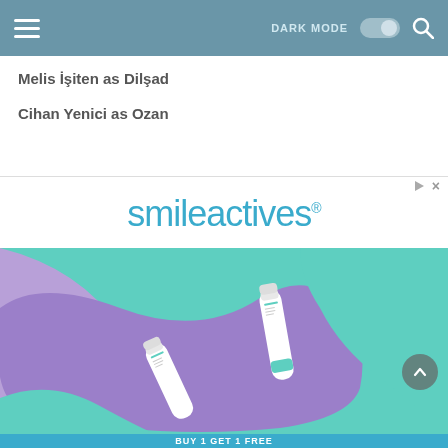DARK MODE [toggle] [search]
Melis İşiten as Dilşad
Cihan Yenici as Ozan
[Figure (photo): Advertisement banner for smileactives with logo text in teal/blue, followed by a product photo showing two white toothpaste/whitening pen tubes on a purple and teal abstract wavy background]
BUY 1 GET 1 FREE